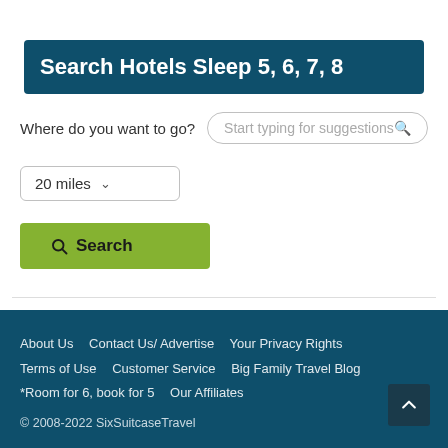Search Hotels Sleep 5, 6, 7, 8
Where do you want to go? Start typing for suggestions
20 miles
Search
About Us  Contact Us/ Advertise  Your Privacy Rights  Terms of Use  Customer Service  Big Family Travel Blog  *Room for 6, book for 5  Our Affiliates  © 2008-2022 SixSuitcaseTravel